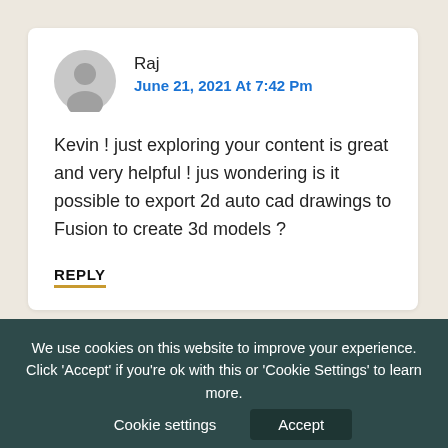[Figure (other): Gray circular avatar icon with a person silhouette]
Raj
June 21, 2021 At 7:42 Pm
Kevin ! just exploring your content is great and very helpful ! jus wondering is it possible to export 2d auto cad drawings to Fusion to create 3d models ?
REPLY
We use cookies on this website to improve your experience. Click 'Accept' if you're ok with this or 'Cookie Settings' to learn more.
Cookie settings
Accept